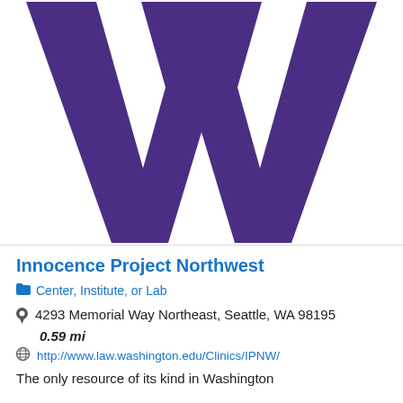[Figure (logo): University of Washington purple block W logo on white background]
Innocence Project Northwest
Center, Institute, or Lab
4293 Memorial Way Northeast, Seattle, WA 98195
0.59 mi
http://www.law.washington.edu/Clinics/IPNW/
The only resource of its kind in Washington